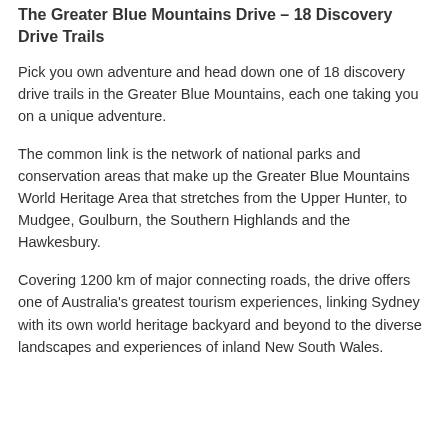The Greater Blue Mountains Drive – 18 Discovery Drive Trails
Pick you own adventure and head down one of 18 discovery drive trails in the Greater Blue Mountains, each one taking you on a unique adventure.
The common link is the network of national parks and conservation areas that make up the Greater Blue Mountains World Heritage Area that stretches from the Upper Hunter, to Mudgee, Goulburn, the Southern Highlands and the Hawkesbury.
Covering 1200 km of major connecting roads, the drive offers one of Australia's greatest tourism experiences, linking Sydney with its own world heritage backyard and beyond to the diverse landscapes and experiences of inland New South Wales.